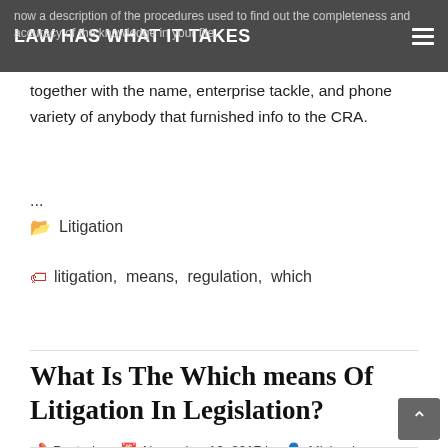LAW HAS WHAT IT TAKES
together with the name, enterprise tackle, and phone variety of anybody that furnished info to the CRA.
...
Litigation
litigation, means, regulation, which
What Is The Which means Of Litigation In Legislation?
Posted on November 16, 2017 by Michael